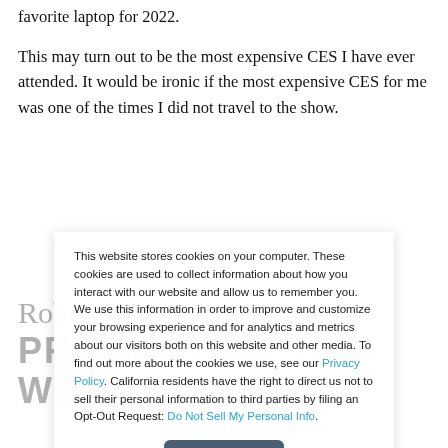favorite laptop for 2022.
This may turn out to be the most expensive CES I have ever attended. It would be ironic if the most expensive CES for me was one of the times I did not travel to the show.
Rob Enderle's
PRODUCT OF THE WEEK
This website stores cookies on your computer. These cookies are used to collect information about how you interact with our website and allow us to remember you. We use this information in order to improve and customize your browsing experience and for analytics and metrics about our visitors both on this website and other media. To find out more about the cookies we use, see our Privacy Policy. California residents have the right to direct us not to sell their personal information to third parties by filing an Opt-Out Request: Do Not Sell My Personal Info.
Accept